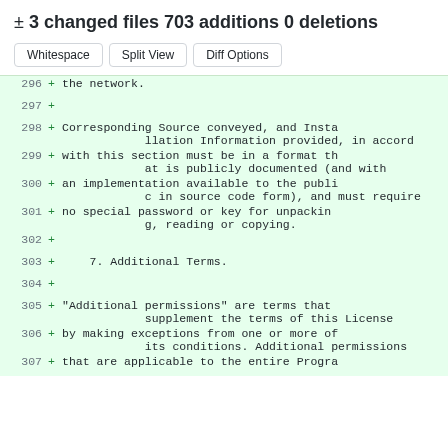± 3 changed files 703 additions 0 deletions
Whitespace  Split View  Diff Options
296 + the network.
297 +
298 + Corresponding Source conveyed, and Installation Information provided, in accord
299 + with this section must be in a format that is publicly documented (and with
300 + an implementation available to the public in source code form), and must require
301 + no special password or key for unpacking, reading or copying.
302 +
303 +     7. Additional Terms.
304 +
305 + "Additional permissions" are terms that supplement the terms of this License
306 + by making exceptions from one or more of its conditions. Additional permissions
307 + that are applicable to the entire Progra